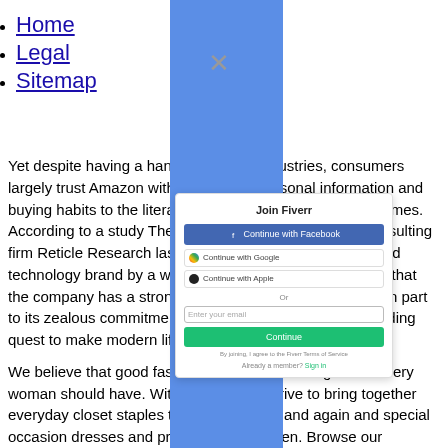Home
Legal
Sitemap
Yet despite having a hand i industries, consumers largely trust Amazon with e personal information and buying habits to the literal c have in their own homes. According to a study The V partnership with consulting firm Reticle Research last y most-liked and trusted technology brand by a wide explanation there is that the company has a strong n customers, thanks in part to its zealous commitment t seemingly never-ending quest to make modern life m
[Figure (screenshot): Join Fiverr modal dialog with options to Continue with Facebook, Continue with Google, Continue with Apple, an email input field, a Continue button, terms of service text, and Already a member? Sign In link]
We believe that good fashio ces is a right that every woman should have. With t e strive to bring together everyday closet staples tha time and again and special occasion dresses and profe women. Browse our collection of trendy women' our perfect piece, no matter the event or occasion.
In one brief keynote, the co a car infotainment device, yet more updates to the sta er and Dot line, a subwoofer, a set of stereo a ecast Audio competitor, a